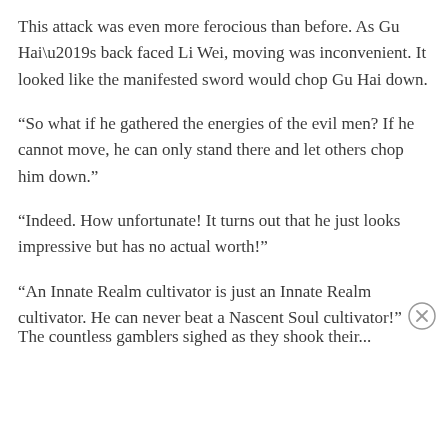This attack was even more ferocious than before. As Gu Hai’s back faced Li Wei, moving was inconvenient. It looked like the manifested sword would chop Gu Hai down.
“So what if he gathered the energies of the evil men? If he cannot move, he can only stand there and let others chop him down.”
“Indeed. How unfortunate! It turns out that he just looks impressive but has no actual worth!”
“An Innate Realm cultivator is just an Innate Realm cultivator. He can never beat a Nascent Soul cultivator!”
The countless gamblers sighed as they shook their...